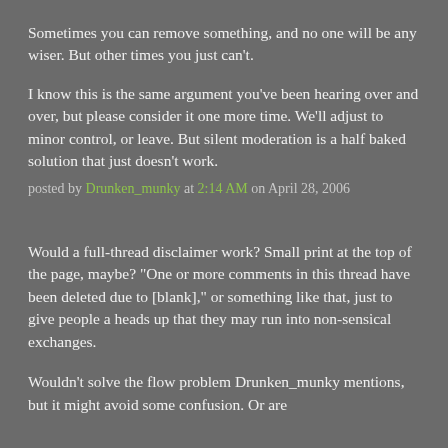Sometimes you can remove something, and no one will be any wiser. But other times you just can't.
I know this is the same argument you've been hearing over and over, but please consider it one more time. We'll adjust to minor control, or leave. But silent moderation is a half baked solution that just doesn't work.
posted by Drunken_munky at 2:14 AM on April 28, 2006
Would a full-thread disclaimer work? Small print at the top of the page, maybe? "One or more comments in this thread have been deleted due to [blank]," or something like that, just to give people a heads up that they may run into non-sensical exchanges.
Wouldn't solve the flow problem Drunken_munky mentions, but it might avoid some confusion. Or are